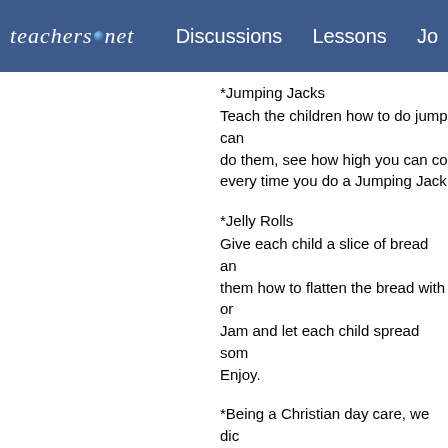teachers.net  Discussions  Lessons  Jo
*Jumping Jacks
Teach the children how to do jump can
do them, see how high you can co
every time you do a Jumping Jack
*Jelly Rolls
Give each child a slice of bread an
them how to flatten the bread with or
Jam and let each child spread som
Enjoy.
*Being a Christian day care, we dic
It was a big hit with the kids. We gl
paper and had the kids color them
all very protective of their puzzles s
available and clearly marked.
*jump rope games - tried to actuall